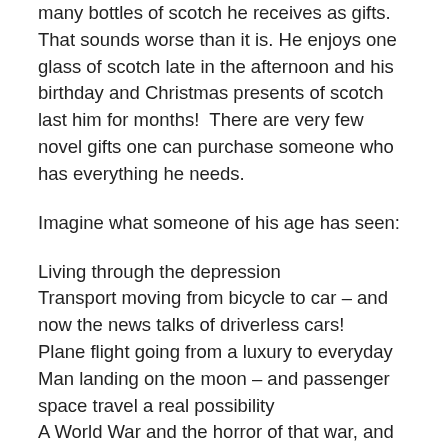many bottles of scotch he receives as gifts. That sounds worse than it is. He enjoys one glass of scotch late in the afternoon and his birthday and Christmas presents of scotch last him for months!  There are very few novel gifts one can purchase someone who has everything he needs.
Imagine what someone of his age has seen:
Living through the depression
Transport moving from bicycle to car – and now the news talks of driverless cars!
Plane flight going from a luxury to everyday
Man landing on the moon – and passenger space travel a real possibility
A World War and the horror of that war, and its aftermath